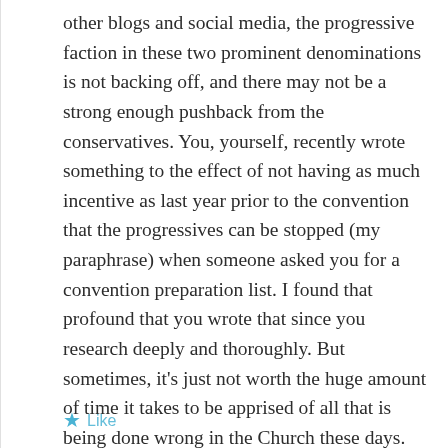other blogs and social media, the progressive faction in these two prominent denominations is not backing off, and there may not be a strong enough pushback from the conservatives. You, yourself, recently wrote something to the effect of not having as much incentive as last year prior to the convention that the progressives can be stopped (my paraphrase) when someone asked you for a convention preparation list. I found that profound that you wrote that since you research deeply and thoroughly. But sometimes, it's just not worth the huge amount of time it takes to be apprised of all that is being done wrong in the Church these days.